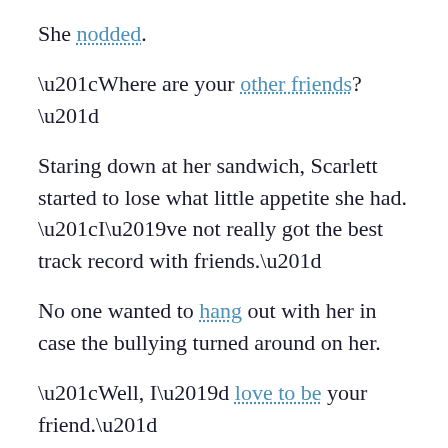She nodded.
“Where are your other friends?”
Staring down at her sandwich, Scarlett started to lose what little appetite she had. “I’ve not really got the best track record with friends.”
No one wanted to hang out with her in case the bullying turned around on her.
“Well, I’d love to be your friend.”
Looking up, she saw he was smiling back.
“Are you sure? They could bully you as well.”
“I can handle myself, believe me.”